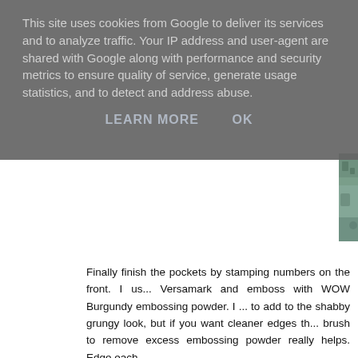This site uses cookies from Google to deliver its services and to analyze traffic. Your IP address and user-agent are shared with Google along with performance and security metrics to ensure quality of service, generate usage statistics, and to detect and address abuse.
LEARN MORE    OK
[Figure (photo): Teal/green grunge textured surface photo strip visible on right side of page below the cookie banner]
Finally finish the pockets by stamping numbers on the front. I us... Versamark and emboss with WOW Burgundy embossing powder. I ... to add to the shabby grungy look, but if you want cleaner edges th... brush to remove excess embossing powder really helps. Edge each ...
Words Plate 2
[Figure (photo): Alphabet stamp set showing typewriter-style letters a b c d e (top row), g h i j k (middle row), m n o p q (bottom row) on white background with black ink]